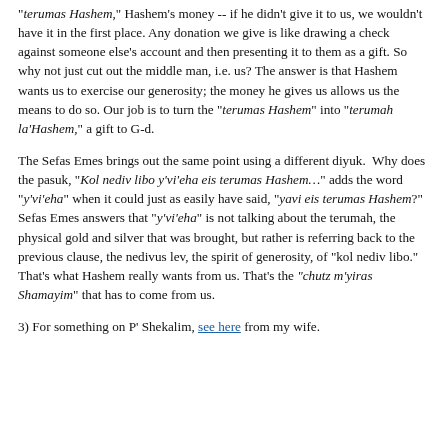"terumas Hashem," Hashem's money -- if he didn't give it to us, we wouldn't have it in the first place. Any donation we give is like drawing a check against someone else's account and then presenting it to them as a gift. So why not just cut out the middle man, i.e. us? The answer is that Hashem wants us to exercise our generosity; the money he gives us allows us the means to do so. Our job is to turn the "terumas Hashem" into "terumah la'Hashem," a gift to G-d.
The Sefas Emes brings out the same point using a different diyuk. Why does the pasuk, "Kol nediv libo y'vi'eha eis terumas Hashem…" adds the word "y'vi'eha" when it could just as easily have said, "yavi eis terumas Hashem?" Sefas Emes answers that "y'vi'eha" is not talking about the terumah, the physical gold and silver that was brought, but rather is referring back to the previous clause, the nedivus lev, the spirit of generosity, of "kol nediv libo." That's what Hashem really wants from us. That's the "chutz m'yiras Shamayim" that has to come from us.
3) For something on P' Shekalim, see here from my wife.